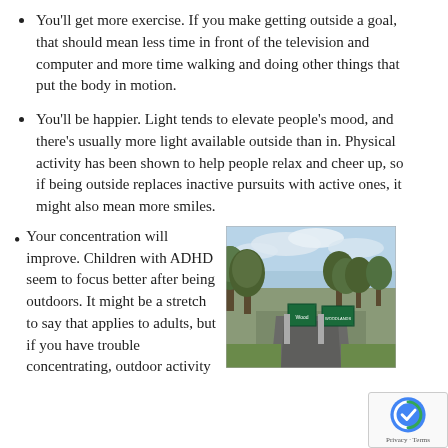You'll get more exercise. If you make getting outside a goal, that should mean less time in front of the television and computer and more time walking and doing other things that put the body in motion.
You'll be happier. Light tends to elevate people's mood, and there's usually more light available outside than in. Physical activity has been shown to help people relax and cheer up, so if being outside replaces inactive pursuits with active ones, it might also mean more smiles.
Your concentration will improve. Children with ADHD seem to focus better after being outdoors. It might be a stretch to say that applies to adults, but if you have trouble concentrating, outdoor activity could help.
[Figure (photo): Outdoor park scene with trees, road, and green signage (Woodlands area), cloudy sky]